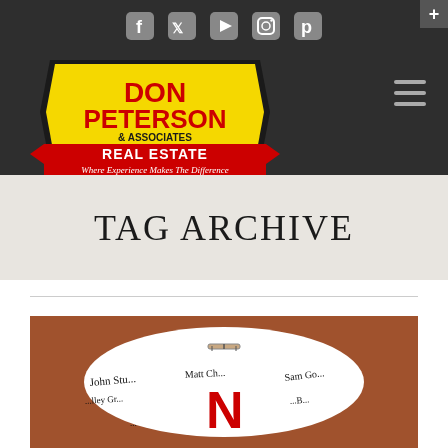Don Peterson & Associates Real Estate — Where Experience Makes The Difference
TAG ARCHIVE
[Figure (photo): Signed football with Nebraska 'N' logo and multiple autographs, on a brown background]